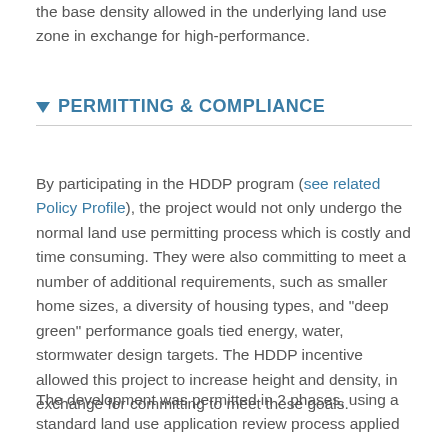the base density allowed in the underlying land use zone in exchange for high-performance.
PERMITTING & COMPLIANCE
By participating in the HDDP program (see related Policy Profile), the project would not only undergo the normal land use permitting process which is costly and time consuming. They were also committing to meet a number of additional requirements, such as smaller home sizes, a diversity of housing types, and "deep green" performance goals tied energy, water, stormwater design targets. The HDDP incentive allowed this project to increase height and density, in exchange for committing to meet these goals.
The development was permitted in 2 phases, using a standard land use application review process applied